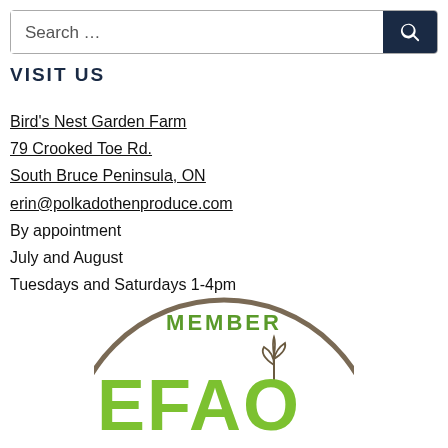Search ...
VISIT US
Bird's Nest Garden Farm
79 Crooked Toe Rd.
South Bruce Peninsula, ON
erin@polkadothenproduce.com
By appointment
July and August
Tuesdays and Saturdays 1-4pm
[Figure (logo): EFAO Member logo — circular badge with text MEMBER and EFAO with a plant seedling graphic, brown circle border, green text]